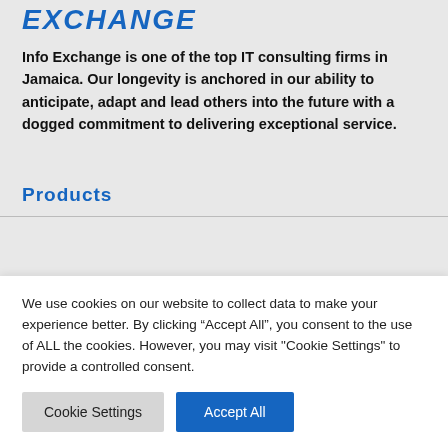EXCHANGE
Info Exchange is one of the top IT consulting firms in Jamaica. Our longevity is anchored in our ability to anticipate, adapt and lead others into the future with a dogged commitment to delivering exceptional service.
Products
We use cookies on our website to collect data to make your experience better. By clicking “Accept All”, you consent to the use of ALL the cookies. However, you may visit "Cookie Settings" to provide a controlled consent.